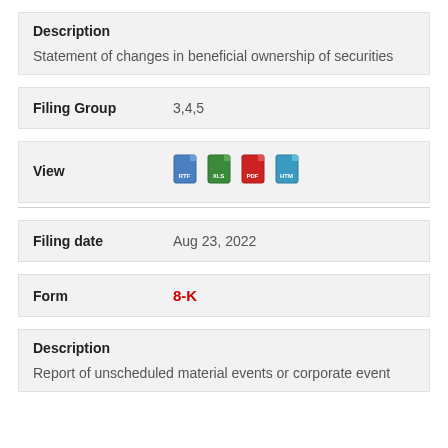Description
Statement of changes in beneficial ownership of securities
Filing Group   3,4,5
View   [RTF] [XLS] [PDF] [HTM]
Filing date   Aug 23, 2022
Form   8-K
Description
Report of unscheduled material events or corporate event